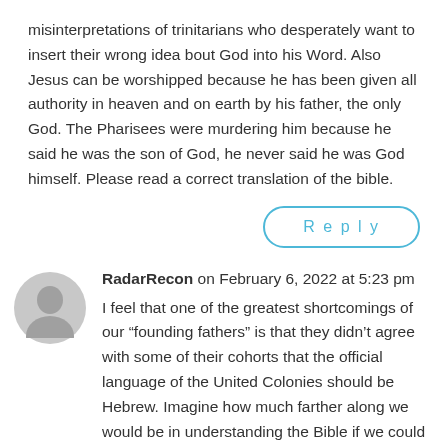misinterpretations of trinitarians who desperately want to insert their wrong idea bout God into his Word. Also Jesus can be worshipped because he has been given all authority in heaven and on earth by his father, the only God. The Pharisees were murdering him because he said he was the son of God, he never said he was God himself. Please read a correct translation of the bible.
Reply
RadarRecon on February 6, 2022 at 5:23 pm
I feel that one of the greatest shortcomings of our “founding fathers” is that they didn’t agree with some of their cohorts that the official language of the United Colonies should be Hebrew. Imagine how much farther along we would be in understanding the Bible if we could read and